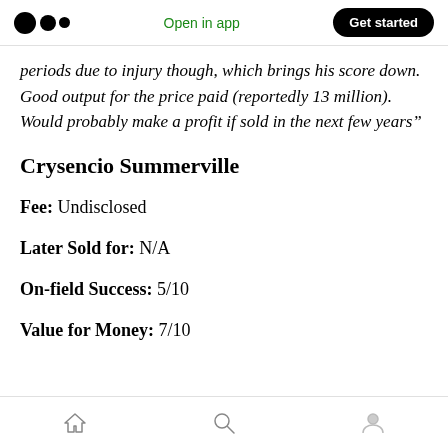Medium app navigation bar with logo, 'Open in app', and 'Get started' button
periods due to injury though, which brings his score down. Good output for the price paid (reportedly 13 million). Would probably make a profit if sold in the next few years"
Crysencio Summerville
Fee: Undisclosed
Later Sold for: N/A
On-field Success: 5/10
Value for Money: 7/10
Bottom navigation bar with home, search, and profile icons